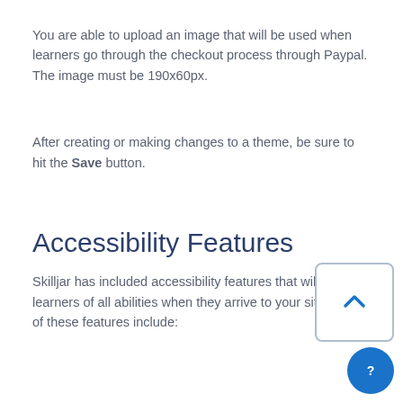You are able to upload an image that will be used when learners go through the checkout process through Paypal. The image must be 190x60px.
After creating or making changes to a theme, be sure to hit the Save button.
Accessibility Features
Skilljar has included accessibility features that will benefit learners of all abilities when they arrive to your site. Some of these features include: